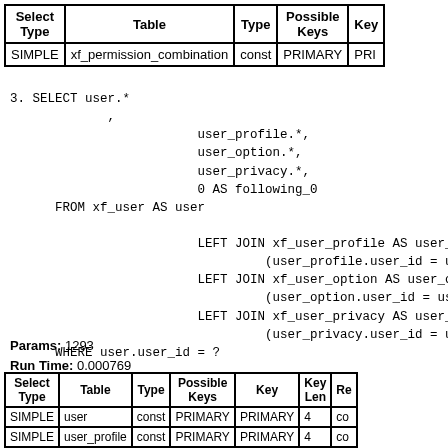| Select Type | Table | Type | Possible Keys | Key |
| --- | --- | --- | --- | --- |
| SIMPLE | xf_permission_combination | const | PRIMARY | PRI... |
3. SELECT user.*
             ,
                         user_profile.*,
                         user_option.*,
                         user_privacy.*,
                         0 AS following_0
      FROM xf_user AS user

                         LEFT JOIN xf_user_profile AS user_p...
                                  (user_profile.user_id = use...
                         LEFT JOIN xf_user_option AS user_opt...
                                  (user_option.user_id = user...
                         LEFT JOIN xf_user_privacy AS user_p...
                                  (user_privacy.user_id = use...
      WHERE user.user_id = ?
Params: 1293
Run Time: 0.000769
| Select Type | Table | Type | Possible Keys | Key | Key Len | Re... |
| --- | --- | --- | --- | --- | --- | --- |
| SIMPLE | user | const | PRIMARY | PRIMARY | 4 | co... |
| SIMPLE | user_profile | const | PRIMARY | PRIMARY | 4 | co... |